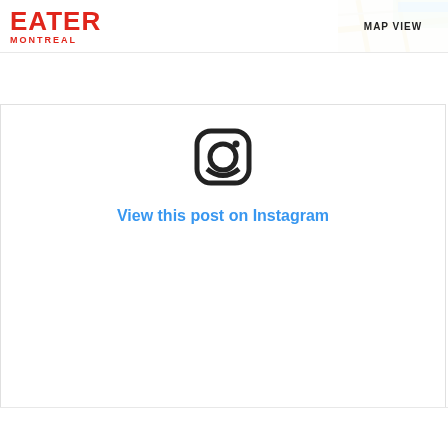EATER MONTREAL
[Figure (screenshot): Eater Montreal website header with red EATER MONTREAL logo on left and MAP VIEW button with map thumbnail on right]
[Figure (screenshot): Instagram embed widget showing Instagram icon, 'View this post on Instagram' link in blue, placeholder loading bars, heart/comment/bookmark icons, and caption 'A post shared by Hidden Fish (@sushihiddenfish)']
A post shared by Hidden Fish (@sushihiddenfish)